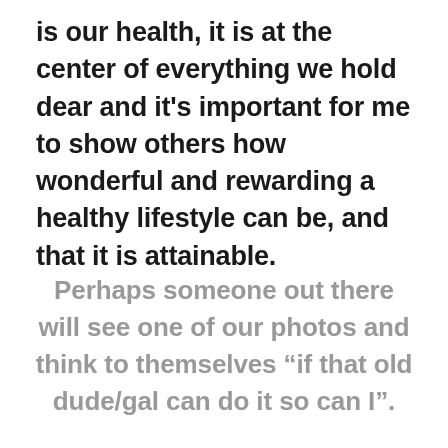is our health, it is at the center of everything we hold dear and it's important for me to show others how wonderful and rewarding a healthy lifestyle can be, and that it is attainable.
Perhaps someone out there will see one of our photos and think to themselves “if that old dude/gal can do it so can I”.